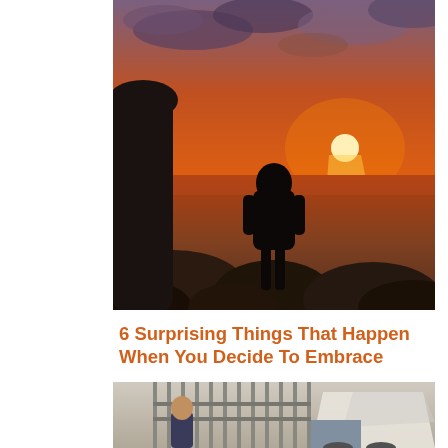[Figure (photo): A silhouetted person standing on rocks by the ocean at sunset with dramatic orange and cloud-filled sky]
6 Surprising Things That Happen When You Decide To Embrace
[Figure (photo): A police officer standing near metal bars/gate structure, possibly a parking garage or holding area, with a white sheet or tarp visible]